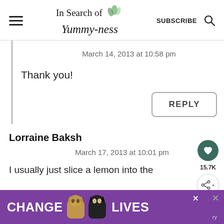In Search of Yummy-ness — SUBSCRIBE
March 14, 2013 at 10:58 pm
Thank you!
REPLY
Lorraine Baksh
March 17, 2013 at 10:01 pm
I usually just slice a lemon into the
[Figure (screenshot): Advertisement banner showing two cats with text CHANGE LIVES on purple background]